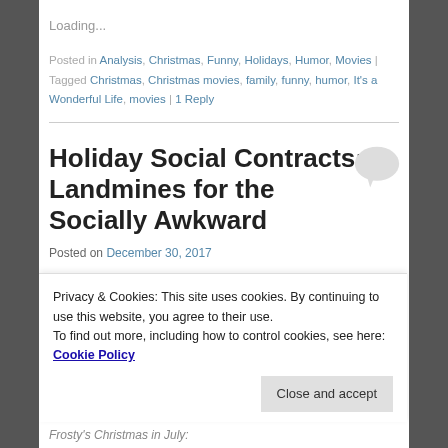Loading...
Posted in Analysis, Christmas, Funny, Holidays, Humor, Movies | Tagged Christmas, Christmas movies, family, funny, humor, It's a Wonderful Life, movies | 1 Reply
Holiday Social Contracts: Landmines for the Socially Awkward
Posted on December 30, 2017
Privacy & Cookies: This site uses cookies. By continuing to use this website, you agree to their use. To find out more, including how to control cookies, see here: Cookie Policy
Frosty's Christmas in July: